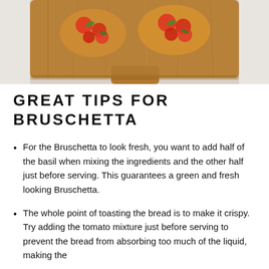[Figure (photo): Overhead photo of bruschetta on a wooden cutting board with tomato toppings, on a white surface]
GREAT TIPS FOR BRUSCHETTA
For the Bruschetta to look fresh, you want to add half of the basil when mixing the ingredients and the other half just before serving. This guarantees a green and fresh looking Bruschetta.
The whole point of toasting the bread is to make it crispy. Try adding the tomato mixture just before serving to prevent the bread from absorbing too much of the liquid, making the...